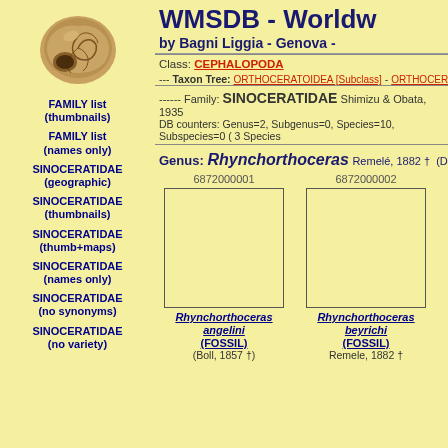[Figure (photo): Photograph of a spiral shell (gastropod or cephalopod fossil) shown from aperture side, brownish-tan color]
WMSDB - Worldw
by Bagni Liggia - Genova -
FAMILY list (thumbnails)
FAMILY list (names only)
SINOCERATIDAE (geographic)
SINOCERATIDAE (thumbnails)
SINOCERATIDAE (thumb+maps)
SINOCERATIDAE (names only)
SINOCERATIDAE (no synonyms)
SINOCERATIDAE (no variety)
Class: CEPHALOPODA
--- Taxon Tree: ORTHOCERATOIDEA [Subclass] - ORTHOCERIDA
------ Family: SINOCERATIDAE Shimizu & Obata, 1935
DB counters: Genus=2, Subgenus=0, Species=10, Subspecies=0 ( 3 Species
Genus: Rhynchorthoceras Remelé, 1882 † (DB: 8 SP, 3 IMG)
6872000001
[Figure (photo): Empty image placeholder box for specimen 6872000001]
Rhynchorthoceras angelini (FOSSIL) (Boll, 1857 †)
6872000002
[Figure (photo): Empty image placeholder box for specimen 6872000002]
Rhynchorthoceras beyrichi (FOSSIL) Remele, 1882 †